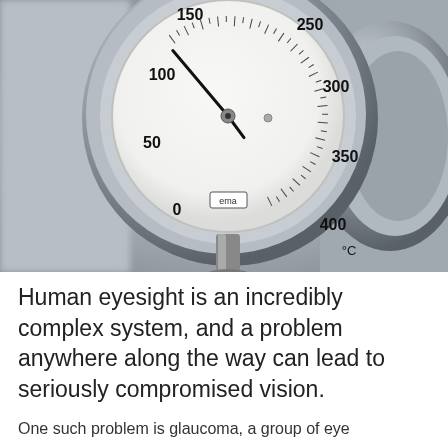[Figure (photo): Close-up photograph of a stainless steel industrial temperature gauge showing a dial with markings from 0 to 400 degrees Celsius (ema brand). The needle appears to point near 175°C. The gauge has a white face with black numerals at 0, 50, 100, 150, 200, 250, 300, 350, 400, and °C label, with a logo reading 'ema' in a rectangular box.]
Human eyesight is an incredibly complex system, and a problem anywhere along the way can lead to seriously compromised vision.
One such problem is glaucoma, a group of eye